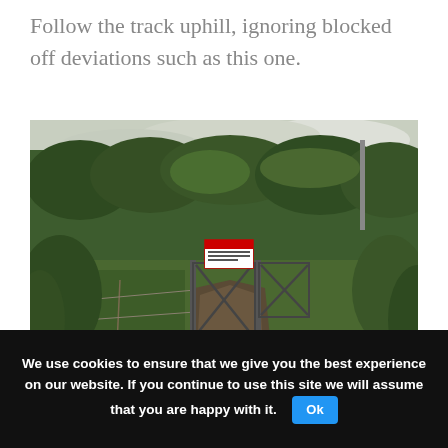Follow the track uphill, ignoring blocked off deviations such as this one.
[Figure (photo): A muddy dirt track leading uphill through dense green bush vegetation, with a metal gate/barrier blocking off a side deviation. A warning sign is visible on a post near the gate. The hillside is covered with trees and shrubs. Watermark reads 'annabel claire chasing waterfalls'.]
We use cookies to ensure that we give you the best experience on our website. If you continue to use this site we will assume that you are happy with it. Ok